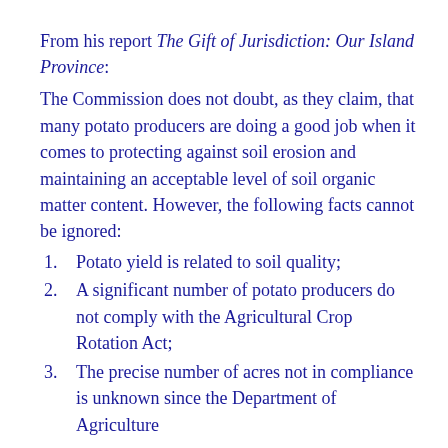From his report The Gift of Jurisdiction: Our Island Province:
The Commission does not doubt, as they claim, that many potato producers are doing a good job when it comes to protecting against soil erosion and maintaining an acceptable level of soil organic matter content. However, the following facts cannot be ignored:
Potato yield is related to soil quality;
A significant number of potato producers do not comply with the Agricultural Crop Rotation Act;
The precise number of acres not in compliance is unknown since the Department of Agriculture